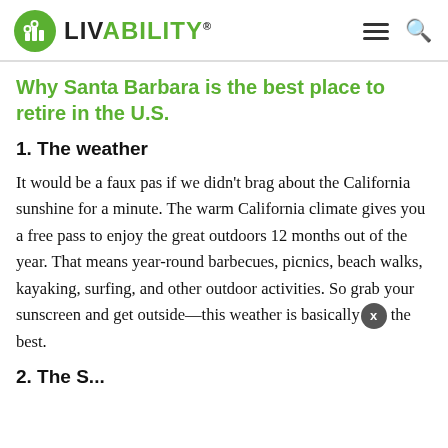LIVABILITY
Why Santa Barbara is the best place to retire in the U.S.
1. The weather
It would be a faux pas if we didn't brag about the California sunshine for a minute. The warm California climate gives you a free pass to enjoy the great outdoors 12 months out of the year. That means year-round barbecues, picnics, beach walks, kayaking, surfing, and other outdoor activities. So grab your sunscreen and get outside—this weather is basically the best.
2. The...